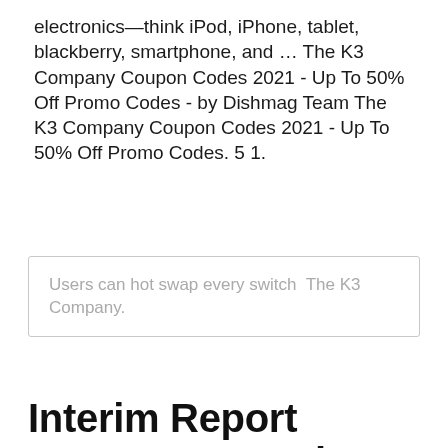electronics—think iPod, iPhone, tablet, blackberry, smartphone, and … The K3 Company Coupon Codes 2021 - Up To 50% Off Promo Codes - by Dishmag Team The K3 Company Coupon Codes 2021 - Up To 50% Off Promo Codes. 5 1.
Users can hot swap every switch  The K3 Company.
Interim Report January – March 2020 - Storytel Investors
The K3's official website is www.thek3company.com